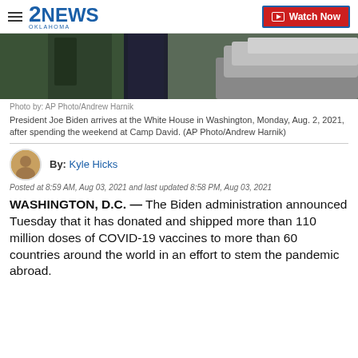2NEWS OKLAHOMA | Watch Now
[Figure (photo): President Joe Biden arriving at the White House, stepping near a dark vehicle]
Photo by: AP Photo/Andrew Harnik
President Joe Biden arrives at the White House in Washington, Monday, Aug. 2, 2021, after spending the weekend at Camp David. (AP Photo/Andrew Harnik)
By: Kyle Hicks
Posted at 8:59 AM, Aug 03, 2021 and last updated 8:58 PM, Aug 03, 2021
WASHINGTON, D.C. — The Biden administration announced Tuesday that it has donated and shipped more than 110 million doses of COVID-19 vaccines to more than 60 countries around the world in an effort to stem the pandemic abroad.